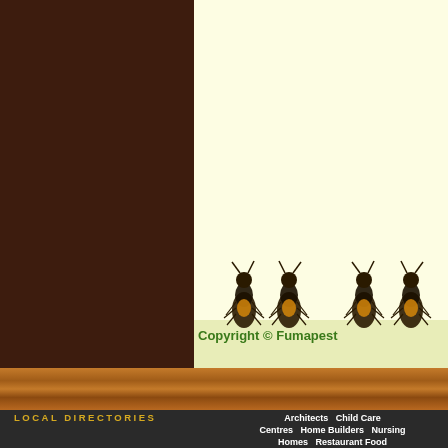[Figure (illustration): Dark brown left panel and cream right panel layout with termite illustration at the bottom of the cream area. Four termite insects with yellow-orange markings are shown near a light green footer strip.]
Copyright © Fumapest
[Figure (illustration): Wood grain texture horizontal bar separating main content from footer]
LOCAL DIRECTORIES
Architects   Child Care Centres   Home Builders   Nursing Homes   Restaurant Food Guide   Tree Loppers   Veterinary